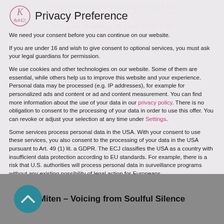Voice Rising Radio Show hosted by Kara Johnson
Airing on Thursday, 20 June 2019, 9:00 AM EST / 6:00 AM PST / 3 PM CEST
Privacy Preference
We need your consent before you can continue on our website.
If you are under 16 and wish to give consent to optional services, you must ask your legal guardians for permission.
We use cookies and other technologies on our website. Some of them are essential, while others help us to improve this website and your experience. Personal data may be processed (e.g. IP addresses), for example for personalized ads and content or ad and content measurement. You can find more information about the use of your data in our privacy policy. There is no obligation to consent to the processing of your data in order to use this offer. You can revoke or adjust your selection at any time under Settings.
Some services process personal data in the USA. With your consent to use these services, you also consent to the processing of your data in the USA pursuant to Art. 49 (1) lit. a GDPR. The ECJ classifies the USA as a country with insufficient data protection according to EU standards. For example, there is a risk that U.S. authorities will process personal data in surveillance programs without any existing possibility of legal action for Europeans.
Essential
Miten – Voicing from Soulful Silence